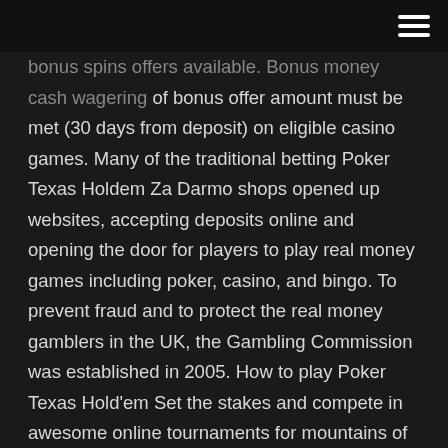bonus spins offers available. Bonus money cash wagering of bonus offer amount must be met (30 days from deposit) on eligible casino games. Many of the traditional betting Poker Texas Holdem Za Darmo shops opened up websites, accepting deposits online and opening the door for players to play real money games including poker, casino, and bingo. To prevent fraud and to protect the real money gamblers in the UK, the Gambling Commission was established in 2005. How to play Poker Texas Hold'em Set the stakes and compete in awesome online tournaments for mountains of virtual chips. Invite your friends to join the fun—just make sure to wear your poker face Poker Players can find many types of poker games at online casinos, and all of them require skill, strategy, and a bit Poker Holdem Texas Online Za Darmoof luck. Texas Hold'emis the most popular